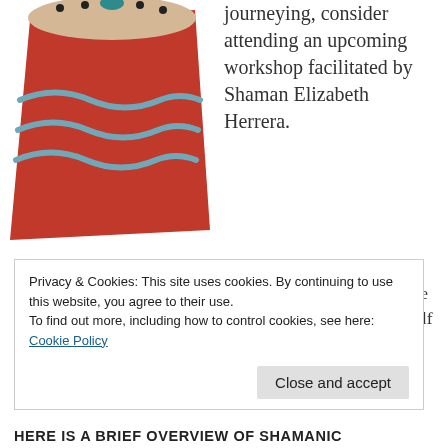[Figure (illustration): A decorative red shamanic drum with blue wavy lines and a beige/tan drum head, viewed at an angle. Black dots are visible along the top edge.]
journeying, consider attending an upcoming workshop facilitated by Shaman Elizabeth Herrera. Shamanic journeying bridges the gap between this world and the spirit realm, allowing you to communicate with the Divine. Through this connection, you begin to heal yourself and others.
Privacy & Cookies: This site uses cookies. By continuing to use this website, you agree to their use.
To find out more, including how to control cookies, see here: Cookie Policy
Close and accept
HERE IS A BRIEF OVERVIEW OF SHAMANIC